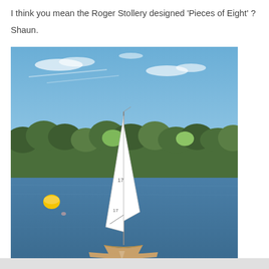I think you mean the Roger Stollery designed 'Pieces of Eight' ?
Shaun.
[Figure (photo): A model sailboat with white sails marked with number 17, sailing on a blue lake with trees in the background and a yellow buoy visible to the left.]